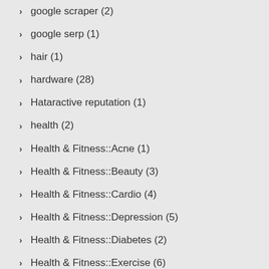google scraper (2)
google serp (1)
hair (1)
hardware (28)
Hataractive reputation (1)
health (2)
Health & Fitness::Acne (1)
Health & Fitness::Beauty (3)
Health & Fitness::Cardio (4)
Health & Fitness::Depression (5)
Health & Fitness::Diabetes (2)
Health & Fitness::Exercise (6)
Health & Fitness::Fitness Equipment (2)